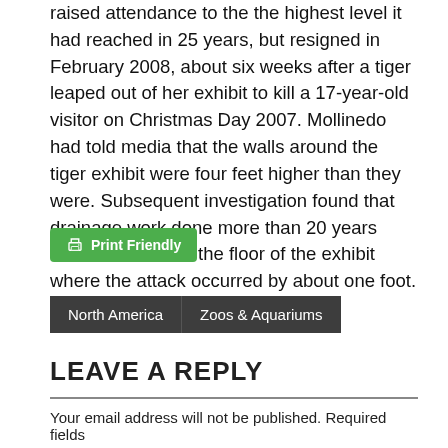raised attendance to the the highest level it had reached in 25 years, but resigned in February 2008, about six weeks after a tiger leaped out of her exhibit to kill a 17-year-old visitor on Christmas Day 2007. Mollinedo had told media that the walls around the tiger exhibit were four feet higher than they were. Subsequent investigation found that drainage work done more than 20 years earlier had raised the floor of the exhibit where the attack occurred by about one foot.
[Figure (other): Green 'Print Friendly' button with printer icon]
North America  Zoos & Aquariums
LEAVE A REPLY
Your email address will not be published. Required fields